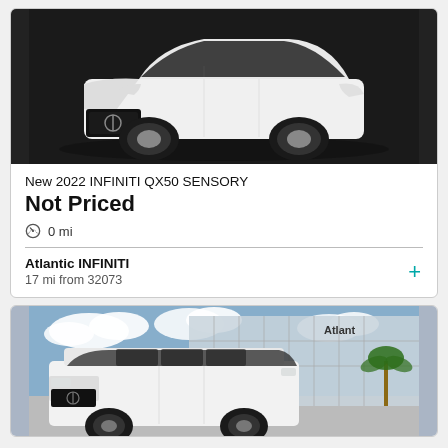[Figure (photo): White 2022 INFINITI QX50 SENSORY SUV on dark background, front 3/4 view]
New 2022 INFINITI QX50 SENSORY
Not Priced
0 mi
Atlantic INFINITI
17 mi from 32073
[Figure (photo): White INFINITI SUV (large QX80) parked in front of Atlantic INFINITI dealership building with glass facade and palm trees, under blue sky with clouds]